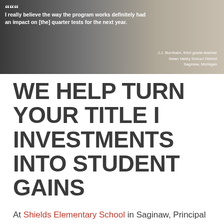[Figure (photo): Photo of a smiling woman (J.J. Burnham, third grade teacher) with a quote overlay: 'I really believe the way the program works definitely had an impact on [the] quarter tests for the next year.' Attribution: J.J. Burnham, third grade teacher, Swan Valley School District, Saginaw, Michigan]
WE HELP TURN YOUR TITLE I INVESTMENTS INTO STUDENT GAINS
At Shields Elementary School in Saginaw, Principal Shelly DuCharme recognized the need to act when just 10% of her third-graders achieved proficiency in mathematics on state exams. Unfortunately, the school had only its pop can fund to invest in teacher practice, so DuCharme started small, hiring IEE to provide focused professional development in math